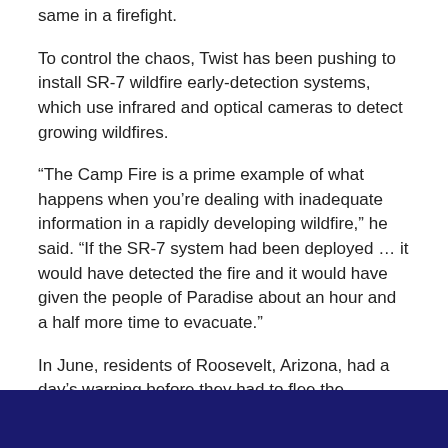same in a firefight.
To control the chaos, Twist has been pushing to install SR-7 wildfire early-detection systems, which use infrared and optical cameras to detect growing wildfires.
“The Camp Fire is a prime example of what happens when you’re dealing with inadequate information in a rapidly developing wildfire,” he said. “If the SR-7 system had been deployed … it would have detected the fire and it would have given the people of Paradise about an hour and a half more time to evacuate.”
In June, residents of Roosevelt, Arizona, had a day’s warning before they had to flee the